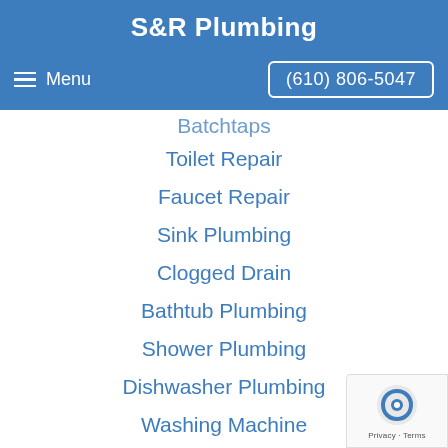S&R Plumbing
Menu   (610) 806-5047
Bathtaps
Toilet Repair
Faucet Repair
Sink Plumbing
Clogged Drain
Bathtub Plumbing
Shower Plumbing
Dishwasher Plumbing
Washing Machine
Water Heater
Furnace Plumbing
Boiler Repair
Sewer Repair (partial)